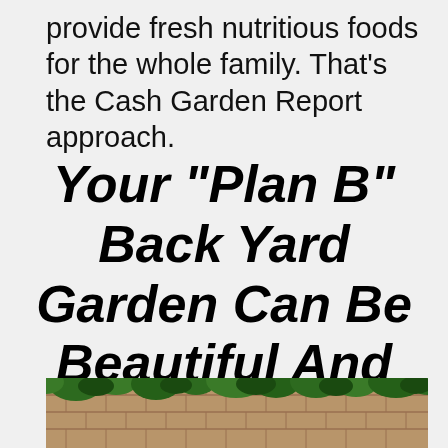provide fresh nutritious foods for the whole family. That's the Cash Garden Report approach.
Your "Plan B" Back Yard Garden Can Be Beautiful And Productive!
[Figure (photo): Photograph of a lush backyard garden with green plants and brick or tile borders at the bottom of the page]